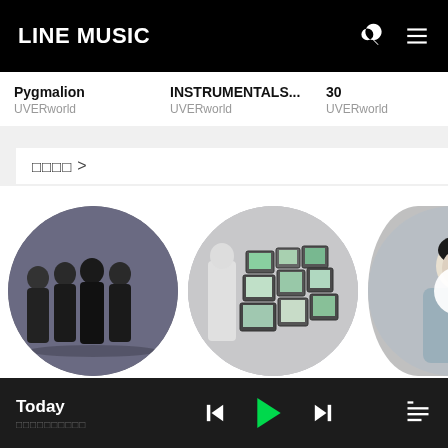LINE MUSIC
Pygmalion / UVERworld
INSTRUMENTALS... / UVERworld
30 / UVERworld
□□□□ >
[Figure (photo): SPYAIR band photo — four members in black, monochrome, circular crop]
[Figure (photo): Album art with stacked vintage televisions, circular crop]
[Figure (photo): Partial circular crop of solo artist in grey hoodie, with forward arrow overlay]
SPYAIR
□□□□
□□
Today □□□□□□□□□□
Today